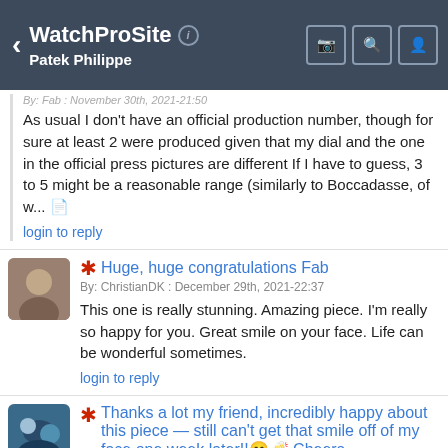WatchProSite — Patek Philippe
As usual I don't have an official production number, though for sure at least 2 were produced given that my dial and the one in the official press pictures are different If I have to guess, 3 to 5 might be a reasonable range (similarly to Boccadasse, of w...
login to reply
Huge, huge congratulations Fab
By: ChristianDK : December 29th, 2021-22:37
This one is really stunning. Amazing piece. I'm really so happy for you. Great smile on your face. Life can be wonderful sometimes.
login to reply
Thanks a lot my friend, incredibly happy about this piece — still can't get that smile off of my face one week later!!😊🥂 Cheers.
By: FabR : December 30th, 2021-05:09
login to reply